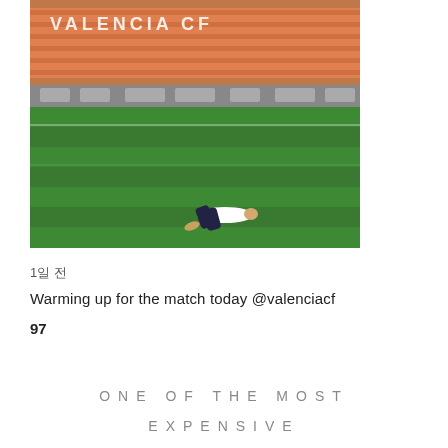[Figure (photo): A person lying on the green football pitch at Valencia CF stadium, with orange seats and the VALENCIA CF signage visible in the stands in the background.]
1일 전
Warming up for the match today @valenciacf
97
ONE OF THE MOST
EXPENSIVE